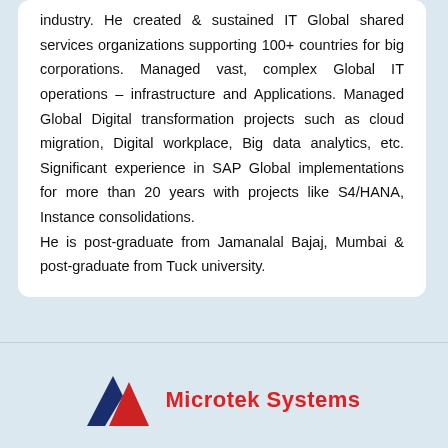industry. He created & sustained IT Global shared services organizations supporting 100+ countries for big corporations. Managed vast, complex Global IT operations – infrastructure and Applications. Managed Global Digital transformation projects such as cloud migration, Digital workplace, Big data analytics, etc. Significant experience in SAP Global implementations for more than 20 years with projects like S4/HANA, Instance consolidations. He is post-graduate from Jamanalal Bajaj, Mumbai & post-graduate from Tuck university.
[Figure (logo): Microtek Systems logo with two mountain/triangle shapes in dark blue and red, followed by the text 'Microtek Systems' in bold red]